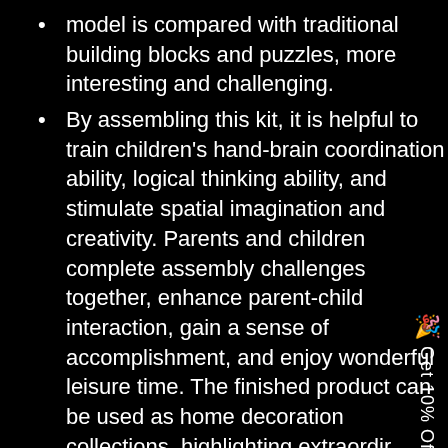model is compared with traditional building blocks and puzzles, more interesting and challenging.
By assembling this kit, it is helpful to train children's hand-brain coordination ability, logical thinking ability, and stimulate spatial imagination and creativity. Parents and children complete assembly challenges together, enhance parent-child interaction, gain a sense of accomplishment, and enjoy wonderful leisure time. The finished product can be used as home decoration collections, highlighting extraordir taste.
Gift: This product can be used as a creative gi for relatives, friends or children on major holidays.
An educational toy suitable for children over c years old. It is suitable for adults to relax and decompress. It is also very suitable for DIY metal model collectors.